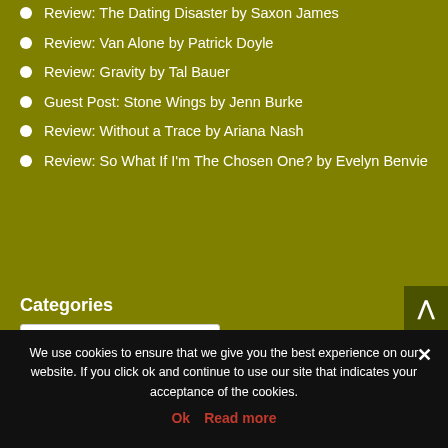Review: The Dating Disaster by Saxon James
Review: Van Alone by Patrick Doyle
Review: Gravity by Tal Bauer
Guest Post: Stone Wings by Jenn Burke
Review: Without a Trace by Ariana Nash
Review: So What If I'm The Chosen One? by Evelyn Benvie
Categories
We use cookies to ensure that we give you the best experience on our website. If you click ok and continue to use our site that indicates your acceptance of the cookies.
Ok   Read more